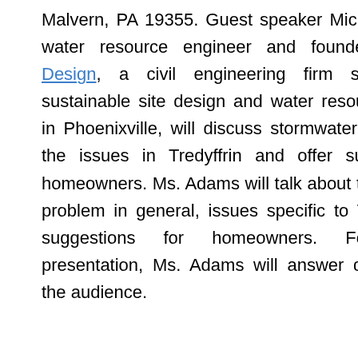Malvern, PA 19355. Guest speaker Michele Adams, a water resource engineer and founder of Meliora Design, a civil engineering firm specializing in sustainable site design and water resources planning in Phoenixville, will discuss stormwater management, the issues in Tredyffrin and offer suggestions for homeowners. Ms. Adams will talk about the stormwater problem in general, issues specific to Tredyffrin, and suggestions for homeowners. Following her presentation, Ms. Adams will answer questions from the audience.